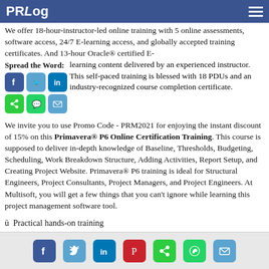PRLog
We offer 18-hour-instructor-led online training with 5 online assessments, software access, 24/7 E-learning access, and globally accepted training certificates. And 13-hour Oracle® certified E-learning content delivered by an experienced instructor. This self-paced training is blessed with 18 PDUs and an industry-recognized course completion certificate.
Spread the Word:
We invite you to use Promo Code - PRM2021 for enjoying the instant discount of 15% on this Primavera® P6 Online Certification Training. This course is supposed to deliver in-depth knowledge of Baseline, Thresholds, Budgeting, Scheduling, Work Breakdown Structure, Adding Activities, Report Setup, and Creating Project Website. Primavera® P6 training is ideal for Structural Engineers, Project Consultants, Project Managers, and Project Engineers. At Multisoft, you will get a few things that you can't ignore while learning this project management software tool.
ü  Practical hands-on training
ü  Delivery standard is up-to-the-mark
Social share icons: Facebook, Twitter, LinkedIn, Pinterest, Share, WhatsApp, Email